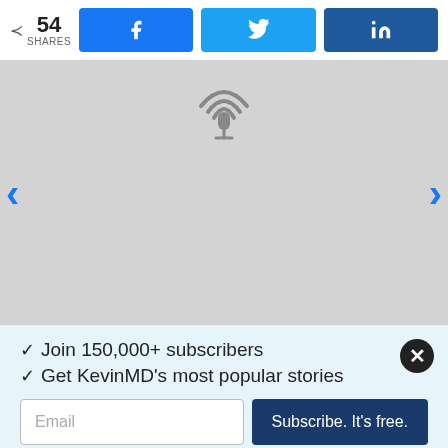54 SHARES
[Figure (screenshot): Social share bar with Facebook, Twitter, LinkedIn buttons]
[Figure (illustration): Gray placeholder area with podcast/radio icon at top center, with left and right navigation arrows]
✓ Join 150,000+ subscribers
✓ Get KevinMD's most popular stories
Email
Subscribe. It's free.